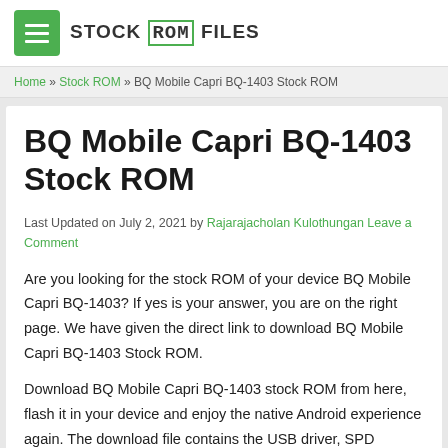STOCK ROM FILES
Home » Stock ROM » BQ Mobile Capri BQ-1403 Stock ROM
BQ Mobile Capri BQ-1403 Stock ROM
Last Updated on July 2, 2021 by Rajarajacholan Kulothungan Leave a Comment
Are you looking for the stock ROM of your device BQ Mobile Capri BQ-1403? If yes is your answer, you are on the right page. We have given the direct link to download BQ Mobile Capri BQ-1403 Stock ROM.
Download BQ Mobile Capri BQ-1403 stock ROM from here, flash it in your device and enjoy the native Android experience again. The download file contains the USB driver, SPD Upgrade